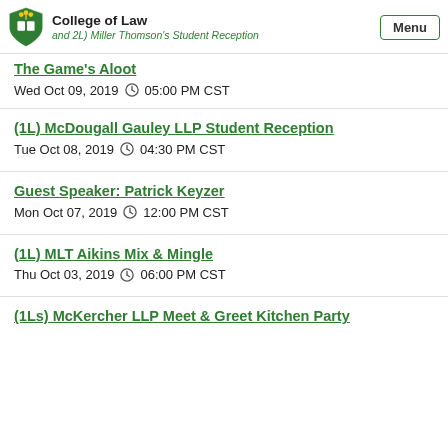College of Law — and 2L) Miller Thomson's Student Reception
The Game's Aloot
Wed Oct 09, 2019 05:00 PM CST
(1L) McDougall Gauley LLP Student Reception
Tue Oct 08, 2019 04:30 PM CST
Guest Speaker: Patrick Keyzer
Mon Oct 07, 2019 12:00 PM CST
(1L) MLT Aikins Mix & Mingle
Thu Oct 03, 2019 06:00 PM CST
(1Ls) McKercher LLP Meet & Greet Kitchen Party